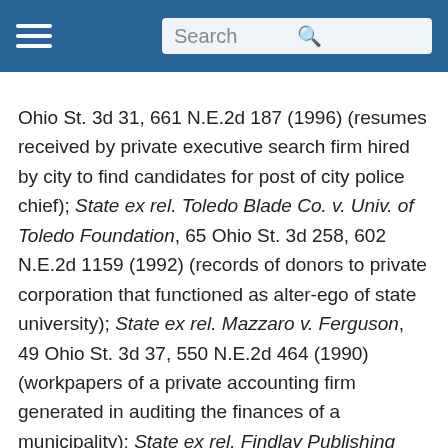Search
Ohio St. 3d 31, 661 N.E.2d 187 (1996) (resumes received by private executive search firm hired by city to find candidates for post of city police chief); State ex rel. Toledo Blade Co. v. Univ. of Toledo Foundation, 65 Ohio St. 3d 258, 602 N.E.2d 1159 (1992) (records of donors to private corporation that functioned as alter-ego of state university); State ex rel. Mazzaro v. Ferguson, 49 Ohio St. 3d 37, 550 N.E.2d 464 (1990) (workpapers of a private accounting firm generated in auditing the finances of a municipality); State ex rel. Findlay Publishing